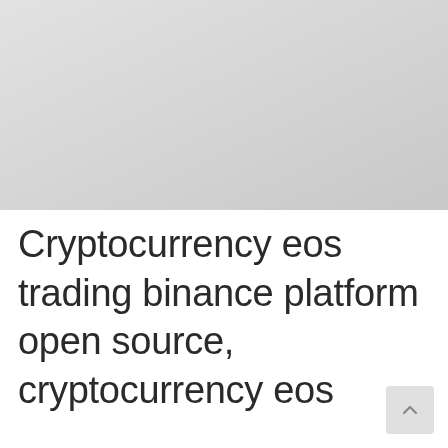[Figure (other): Gray placeholder image area occupying the top portion of the page]
Cryptocurrency eos trading binance platform open source, cryptocurrency eos